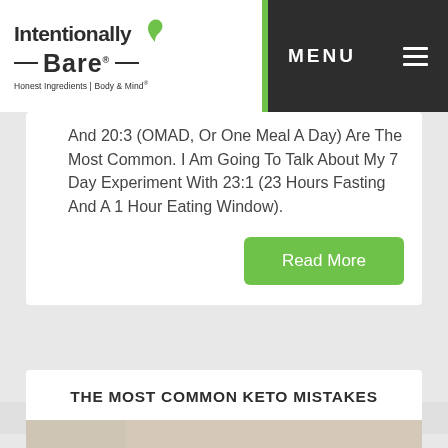[Figure (logo): Intentionally Bare logo with green leaf and tagline 'Honest Ingredients | Body & Mind']
MENU
And 20:3 (OMAD, Or One Meal A Day) Are The Most Common. I Am Going To Talk About My 7 Day Experiment With 23:1 (23 Hours Fasting And A 1 Hour Eating Window).
Read More
THE MOST COMMON KETO MISTAKES
[Figure (photo): Person in black shirt eating food with a fork at a restaurant table]